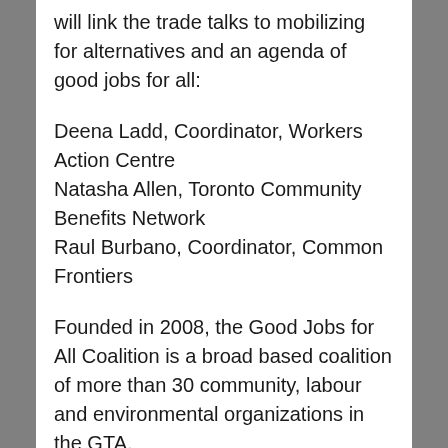will link the trade talks to mobilizing for alternatives and an agenda of good jobs for all:
Deena Ladd, Coordinator, Workers Action Centre
Natasha Allen, Toronto Community Benefits Network
Raul Burbano, Coordinator, Common Frontiers
Founded in 2008, the Good Jobs for All Coalition is a broad based coalition of more than 30 community, labour and environmental organizations in the GTA.
CONTACT INFORMATION